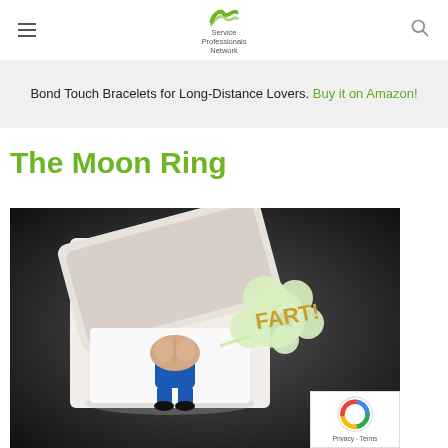Service Professionals Network
Bond Touch Bracelets for Long-Distance Lovers. Buy it on Amazon!
The Moon Ring
[Figure (photo): A joke ring box opened to reveal a small figurine mooning, with a cartoon 'FART!' cloud coming from it. The figurine is wearing blue pants and is presented like a diamond ring in a white ring box.]